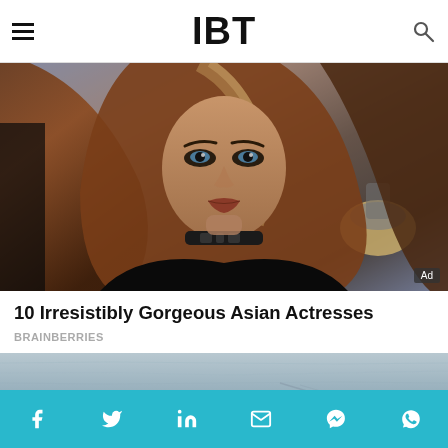IBT
[Figure (photo): Photo of a woman with long brown hair wearing a black choker, styled for a movie or advertisement. Overhead lamp visible in background. Ad badge in lower right corner.]
10 Irresistibly Gorgeous Asian Actresses
BRAINBERRIES
[Figure (photo): Partial photo showing a light blue-grey textured fabric or surface, cropped at bottom of screen.]
Social share bar with icons: Facebook, Twitter, LinkedIn, Email, Messenger, WhatsApp